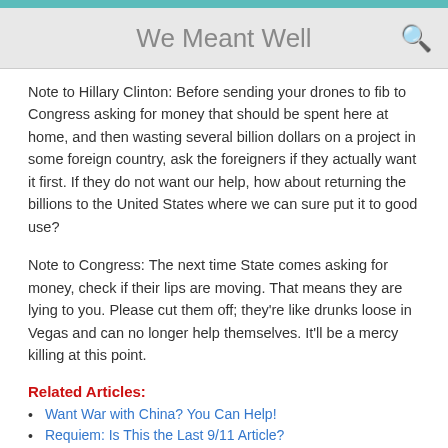We Meant Well
Note to Hillary Clinton: Before sending your drones to fib to Congress asking for money that should be spent here at home, and then wasting several billion dollars on a project in some foreign country, ask the foreigners if they actually want it first. If they do not want our help, how about returning the billions to the United States where we can sure put it to good use?
Note to Congress: The next time State comes asking for money, check if their lips are moving. That means they are lying to you. Please cut them off; they're like drunks loose in Vegas and can no longer help themselves. It'll be a mercy killing at this point.
Related Articles:
Want War with China? You Can Help!
Requiem: Is This the Last 9/11 Article?